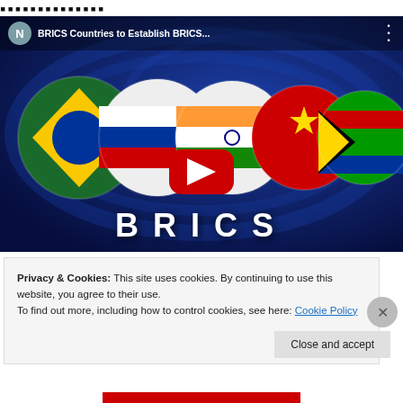...
[Figure (screenshot): YouTube video thumbnail showing BRICS country flag spheres on a dark blue background with a red YouTube play button in the center. Channel icon 'N' in grey circle on top left. Title reads 'BRICS Countries to Establish BRICS...' Text 'BRICS' in large white bold letters at the bottom.]
Privacy & Cookies: This site uses cookies. By continuing to use this website, you agree to their use.
To find out more, including how to control cookies, see here: Cookie Policy
Close and accept